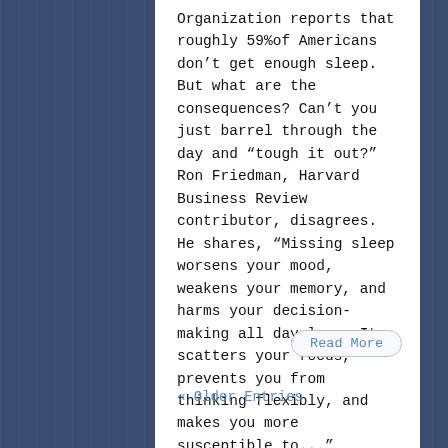Organization reports that roughly 59% of Americans don't get enough sleep. But what are the consequences? Can't you just barrel through the day and "tough it out?"  Ron Friedman, Harvard Business Review contributor, disagrees. He shares, "Missing sleep worsens your mood, weakens your memory, and harms your decision-making all day long. It scatters your focus, prevents you from thinking flexibly, and makes you more susceptible to..."
Read More
« Older Entries